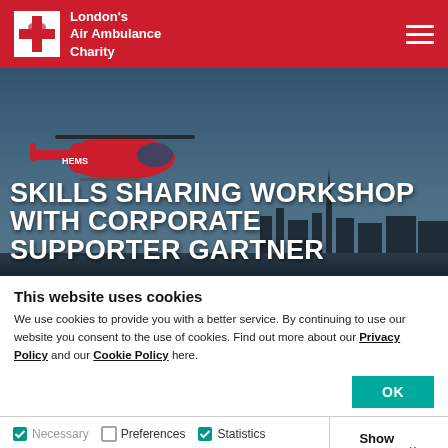London's Air Ambulance Charity
[Figure (photo): Red air ambulance helicopter flying over London skyline with text overlay: SKILLS SHARING WORKSHOP WITH CORPORATE SUPPORTER GARTNER]
SKILLS SHARING WORKSHOP WITH CORPORATE SUPPORTER GARTNER
This website uses cookies
We use cookies to provide you with a better service. By continuing to use our website you consent to the use of cookies. Find out more about our Privacy Policy and our Cookie Policy here.
OK
Necessary  Preferences  Statistics  Marketing  Show details